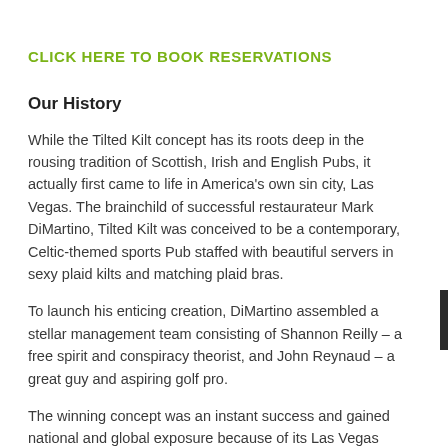CLICK HERE TO BOOK RESERVATIONS
Our History
While the Tilted Kilt concept has its roots deep in the rousing tradition of Scottish, Irish and English Pubs, it actually first came to life in America's own sin city, Las Vegas. The brainchild of successful restaurateur Mark DiMartino, Tilted Kilt was conceived to be a contemporary, Celtic-themed sports Pub staffed with beautiful servers in sexy plaid kilts and matching plaid bras.
To launch his enticing creation, DiMartino assembled a stellar management team consisting of Shannon Reilly – a free spirit and conspiracy theorist, and John Reynaud – a great guy and aspiring golf pro.
The winning concept was an instant success and gained national and global exposure because of its Las Vegas location. Although Tilted Kilt wasn't originally created to be a franchise, it wasn't long before it